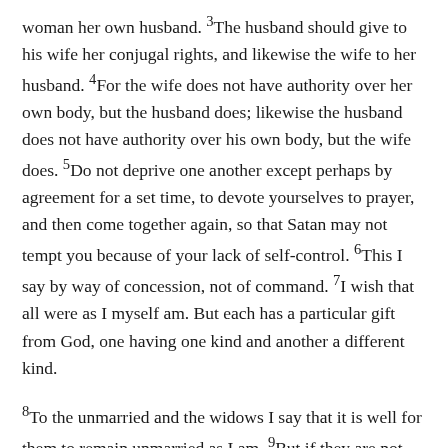woman her own husband. 3The husband should give to his wife her conjugal rights, and likewise the wife to her husband. 4For the wife does not have authority over her own body, but the husband does; likewise the husband does not have authority over his own body, but the wife does. 5Do not deprive one another except perhaps by agreement for a set time, to devote yourselves to prayer, and then come together again, so that Satan may not tempt you because of your lack of self-control. 6This I say by way of concession, not of command. 7I wish that all were as I myself am. But each has a particular gift from God, one having one kind and another a different kind.
8To the unmarried and the widows I say that it is well for them to remain unmarried as I am. 9But if they are not practicing self-control, they should marry. For it is better to marry than to be aflame with passion.
Gospel Reading Mark 4:35-41